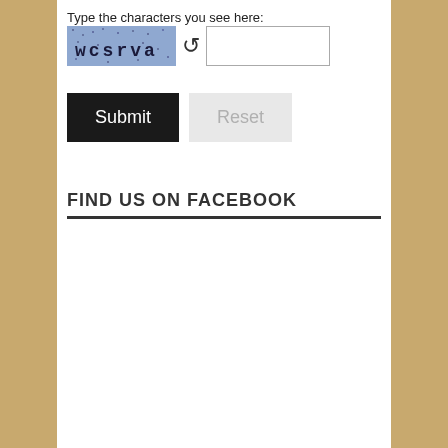Type the characters you see here:
[Figure (screenshot): CAPTCHA image showing distorted text 'wcsrva' on a speckled blue-grey background, with a refresh/reload icon button next to it, and an empty text input field for typing the CAPTCHA answer.]
[Figure (screenshot): Submit button (dark/black) and Reset button (light grey) side by side.]
FIND US ON FACEBOOK